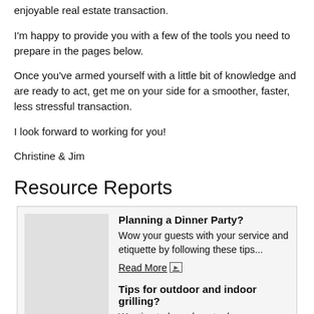enjoyable real estate transaction.
I'm happy to provide you with a few of the tools you need to prepare in the pages below.
Once you've armed yourself with a little bit of knowledge and are ready to act, get me on your side for a smoother, faster, less stressful transaction.
I look forward to working for you!
Christine & Jim
Resource Reports
Planning a Dinner Party?
Wow your guests with your service and etiquette by following these tips...
Read More
Tips for outdoor and indoor grilling?
Wanting to learn how to do some outdoor or indoor grilling? Here are some helpful tips to